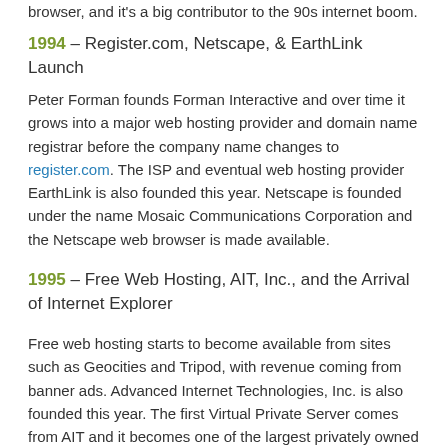browser, and it's a big contributor to the 90s internet boom.
1994 – Register.com, Netscape, & EarthLink Launch
Peter Forman founds Forman Interactive and over time it grows into a major web hosting provider and domain name registrar before the company name changes to register.com. The ISP and eventual web hosting provider EarthLink is also founded this year. Netscape is founded under the name Mosaic Communications Corporation and the Netscape web browser is made available.
1995 – Free Web Hosting, AIT, Inc., and the Arrival of Internet Explorer
Free web hosting starts to become available from sites such as Geocities and Tripod, with revenue coming from banner ads. Advanced Internet Technologies, Inc. is also founded this year. The first Virtual Private Server comes from AIT and it becomes one of the largest privately owned web hosting companies in the world.